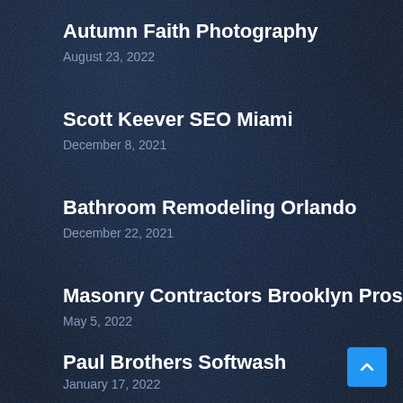Autumn Faith Photography
August 23, 2022
Scott Keever SEO Miami
December 8, 2021
Bathroom Remodeling Orlando
December 22, 2021
Masonry Contractors Brooklyn Pros
May 5, 2022
Paul Brothers Softwash
January 17, 2022